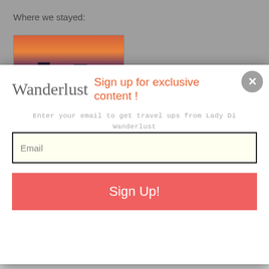Where we stayed:
[Figure (photo): Thumbnail photo of a hotel or travel destination at sunset/dusk, showing warm orange and purple tones with buildings silhouetted]
[Figure (screenshot): Modal popup overlay from Wanderlust blog — contains logo 'Wanderlust', headline 'Sign up for exclusive content!', subtext 'Enter your email to get travel ups from Lady Di Wanderlust', an email input field, and a 'Sign Up!' button. Includes a close X button and Privy/privacy badges.]
all sides. Bar with wait service. Jacuzzi. Nice property, centrally located within walking distance to all the fun ate things we were doing this week. Shopping, marina. Perfect location.
We had a Pool view room here.